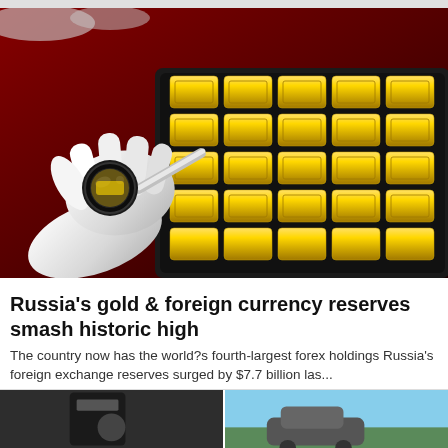[Figure (photo): A gloved hand holding a magnifying loupe over rows of small gold bullion bars arranged in a tray on a dark red surface, examining them closely.]
Russia's gold & foreign currency reserves smash historic high
The country now has the world?s fourth-largest forex holdings Russia's foreign exchange reserves surged by $7.7 billion las...
Kolkata News
[Figure (photo): Partial thumbnails of additional news article images at the bottom of the page.]